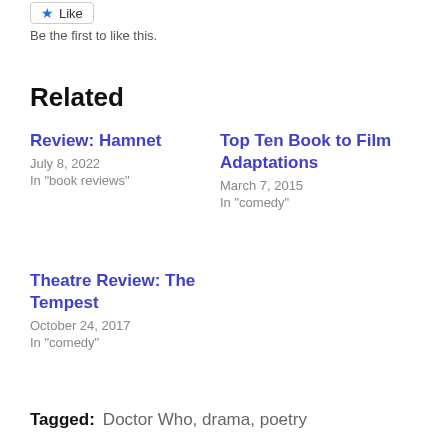Like
Be the first to like this.
Related
Review: Hamnet
July 8, 2022
In "book reviews"
Top Ten Book to Film Adaptations
March 7, 2015
In "comedy"
Theatre Review: The Tempest
October 24, 2017
In "comedy"
Tagged:  Doctor Who,  drama,  poetry